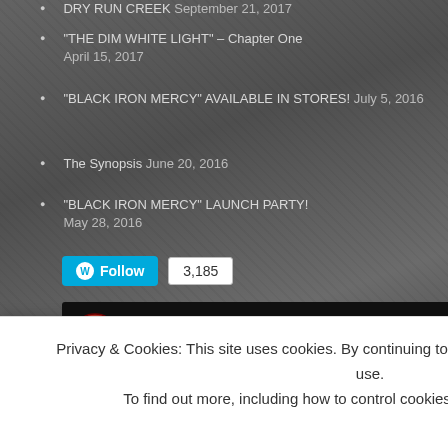DRY RUN CREEK September 21, 2017
"THE DIM WHITE LIGHT" – Chapter One April 15, 2017
"BLACK IRON MERCY" AVAILABLE IN STORES! July 5, 2016
The Synopsis June 20, 2016
"BLACK IRON MERCY" LAUNCH PARTY! May 28, 2016
Follow 3,185
THE BASEMENT
Select Month
BLOGS I FOLLOW
The Little Mermaid
As a two-time campa
and speeches
Privacy & Cookies: This site uses cookies. By continuing to use this website, you agree to their use.
To find out more, including how to control cookies, see here: Cookie Policy
Close and accept